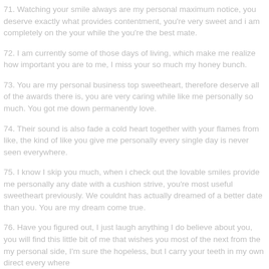71. Watching your smile always are my personal maximum notice, you deserve exactly what provides contentment, you're very sweet and i am completely on the your while the you're the best mate.
72. I am currently some of those days of living, which make me realize how important you are to me, I miss your so much my honey bunch.
73. You are my personal business top sweetheart, therefore deserve all of the awards there is, you are very caring while like me personally so much. You got me down permanently love.
74. Their sound is also fade a cold heart together with your flames from like, the kind of like you give me personally every single day is never seen everywhere.
75. I know I skip you much, when i check out the lovable smiles provide me personally any date with a cushion strive, you're most useful sweetheart previously. We couldnt has actually dreamed of a better date than you. You are my dream come true.
76. Have you figured out, I just laugh anything I do believe about you, you will find this little bit of me that wishes you most of the next from the my personal side, I'm sure the hopeless, but I carry your teeth in my own direct every where